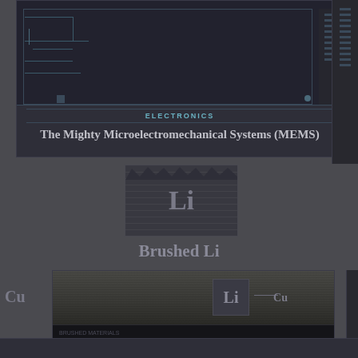[Figure (screenshot): Dark themed article card with circuit board decorative image, category label ELECTRONICS, and article title 'The Mighty Microelectromechanical Systems (MEMS)']
ELECTRONICS
The Mighty Microelectromechanical Systems (MEMS)
[Figure (illustration): Periodic table element card showing 'Li' symbol with brushed metallic texture background]
Brushed Li
[Figure (photo): Large dark card showing a photograph of what appears to be an automotive/industrial scene, with a small Li element card and Cu label overlay]
Cu